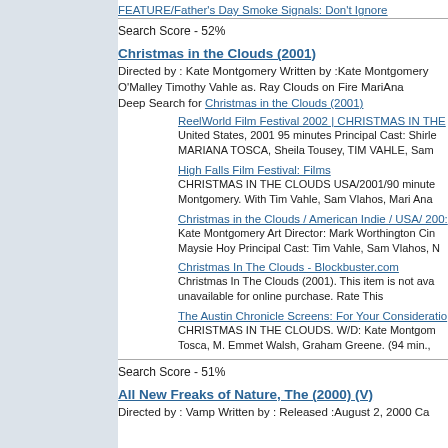FEATURE/Father's Day Smoke Signals: Don't Ignore
Search Score - 52%
Christmas in the Clouds (2001)
Directed by : Kate Montgomery Written by :Kate Montgomery O'Malley Timothy Vahle as. Ray Clouds on Fire MariAna Deep Search for Christmas in the Clouds (2001)
ReelWorld Film Festival 2002 | CHRISTMAS IN THE
United States, 2001 95 minutes Principal Cast: Shirle MARIANA TOSCA, Sheila Tousey, TIM VAHLE, Sam
High Falls Film Festival: Films
CHRISTMAS IN THE CLOUDS USA/2001/90 minute Montgomery. With Tim Vahle, Sam Vlahos, Mari Ana
Christmas in the Clouds / American Indie / USA/ 200:
Kate Montgomery Art Director: Mark Worthington Cin Maysie Hoy Principal Cast: Tim Vahle, Sam Vlahos, N
Christmas In The Clouds - Blockbuster.com
Christmas In The Clouds (2001). This item is not ava unavailable for online purchase. Rate This
The Austin Chronicle Screens: For Your Consideratio
CHRISTMAS IN THE CLOUDS. W/D: Kate Montgom Tosca, M. Emmet Walsh, Graham Greene. (94 min.,
Search Score - 51%
All New Freaks of Nature, The (2000) (V)
Directed by : Vamp Written by : Released :August 2, 2000 Ca